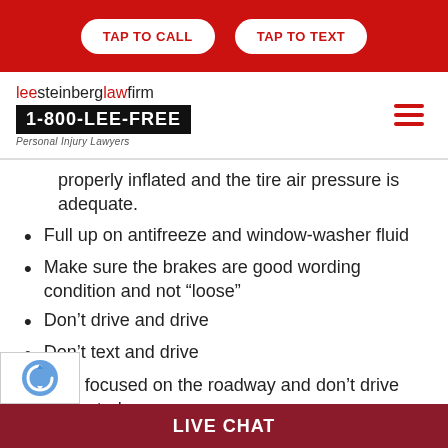TAP TO CALL | TAP TO TEXT
[Figure (logo): Lee Steinberg Law Firm logo with 1-800-LEE-FREE phone number and Personal Injury Lawyers tagline]
properly inflated and the tire air pressure is adequate.
Full up on antifreeze and window-washer fluid
Make sure the brakes are good wording condition and not “loose”
Don’t drive and drive
Don’t text and drive
Stay focused on the roadway and don’t drive distracted.
LIVE CHAT